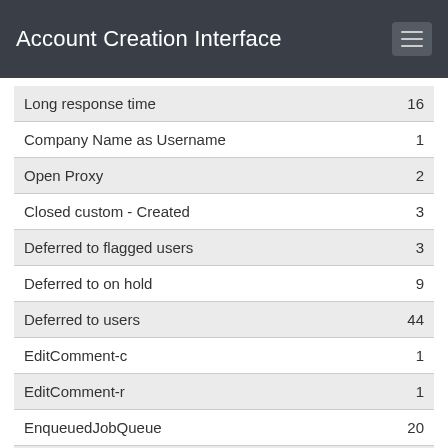Account Creation Interface
| Item | Count |
| --- | --- |
| Long response time | 16 |
| Company Name as Username | 1 |
| Open Proxy | 2 |
| Closed custom - Created | 3 |
| Deferred to flagged users | 3 |
| Deferred to on hold | 9 |
| Deferred to users | 44 |
| EditComment-c | 1 |
| EditComment-r | 1 |
| EnqueuedJobQueue | 20 |
| FlaggedComment | 2 |
| Reserved | 40 |